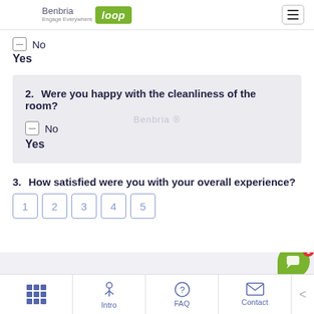Benbria Loop — Engage Everywhere
— No
Yes
2. Were you happy with the cleanliness of the room?
— No
Yes
3. How satisfied were you with your overall experience?
Rating scale: 1 2 3 4 5
Intro  FAQ  Contact